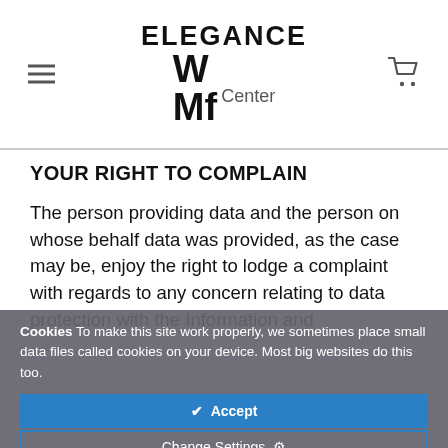ELEGANCE WMf Center
YOUR RIGHT TO COMPLAIN
The person providing data and the person on whose behalf data was provided, as the case may be, enjoy the right to lodge a complaint with regards to any concern relating to data protection with the Information and
Cookies To make this site work properly, we sometimes place small data files called cookies on your device. Most big websites do this too.
✔ Accept
Change Settings ⚙